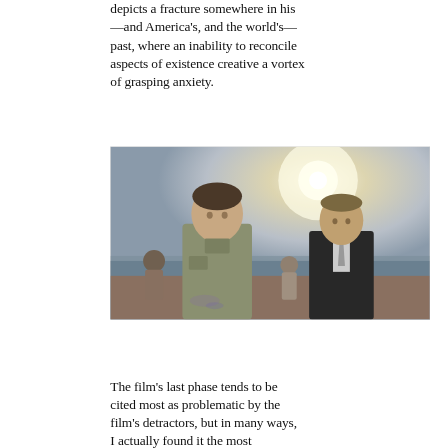depicts a fracture somewhere in his—and America's, and the world's—past, where an inability to reconcile aspects of existence creative a vortex of grasping anxiety.
[Figure (photo): Two men standing on a beach with the sun behind them. The man on the left is younger, wearing a light olive shirt. The man on the right is older, wearing a dark suit and tie. The ocean is visible in the background.]
The film's last phase tends to be cited most as problematic by the film's detractors, but in many ways, I actually found it the most interesting, if also overlong. Jack's reverie changes pitch; as he ascends